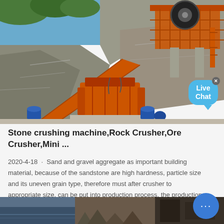[Figure (photo): Large orange stone crushing / rock crusher machine on a quarry hillside with conveyor belts, orange framework structure, and rocky cliff in background under blue sky.]
Stone crushing machine,Rock Crusher,Ore Crusher,Mini ...
2020-4-18 · Sand and gravel aggregate as important building material, because of the sandstone are high hardness, particle size and its uneven grain type, therefore must after crusher to appropriate size, can be put into production process. the production line in the sand and
[Figure (photo): Bottom strip showing a secondary photo of crusher/quarry equipment, partially visible.]